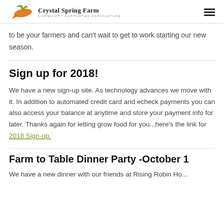Crystal Spring Farm — Community Supported Agriculture
to be your farmers and can't wait to get to work starting our new season.
Sign up for 2018!
We have a new sign-up site. As technology advances we move with it. In addition to automated credit card and echeck payments you can also access your balance at anytime and store your payment info for later. Thanks again for letting grow food for you...here's the link for 2018 Sign-up.
Farm to Table Dinner Party -October 1
We have a new dinner with our friends at Rising Robin House...